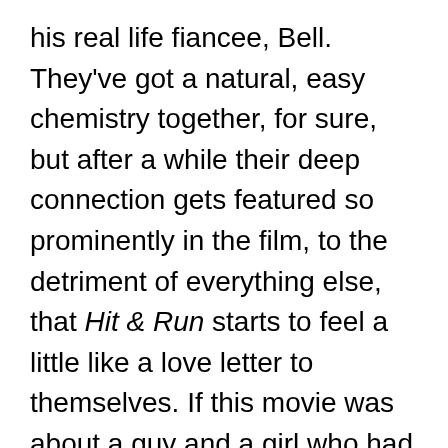his real life fiancee, Bell. They've got a natural, easy chemistry together, for sure, but after a while their deep connection gets featured so prominently in the film, to the detriment of everything else, that Hit & Run starts to feel a little like a love letter to themselves. If this movie was about a guy and a girl who had serious flaws to overcome, it might have been a step more interesting. Instead it seems to mostly be about how awesome Shepard and Bell's relationship is, and that robs the story of some stakes.
But the side characters still manage to make this